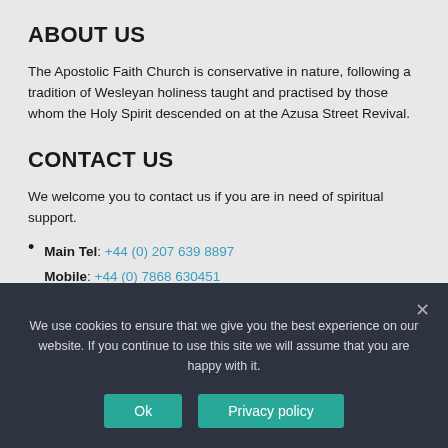ABOUT US
The Apostolic Faith Church is conservative in nature, following a tradition of Wesleyan holiness taught and practised by those whom the Holy Spirit descended on at the Azusa Street Revival.
CONTACT US
We welcome you to contact us if you are in need of spiritual support.
Main Tel: +44 (0) 207 639 8897
Mobile: +44 (0) 7868 630451
Email: pastor@apostolicfaith.org.uk
We use cookies to ensure that we give you the best experience on our website. If you continue to use this site we will assume that you are happy with it.